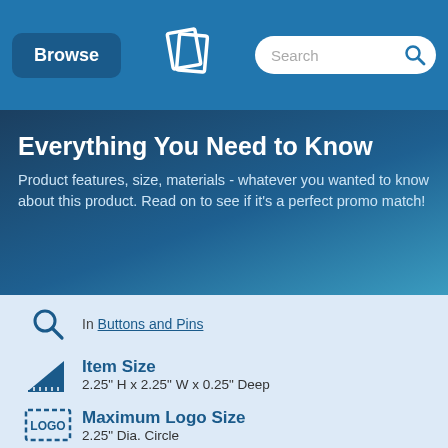Browse | [logo] | Search
Everything You Need to Know
Product features, size, materials - whatever you wanted to know about this product. Read on to see if it's a perfect promo match!
In Buttons and Pins
Item Size
2.25" H x 2.25" W x 0.25" Deep
Maximum Logo Size
2.25" Dia. Circle
Vector Artwork + Proofs
Free